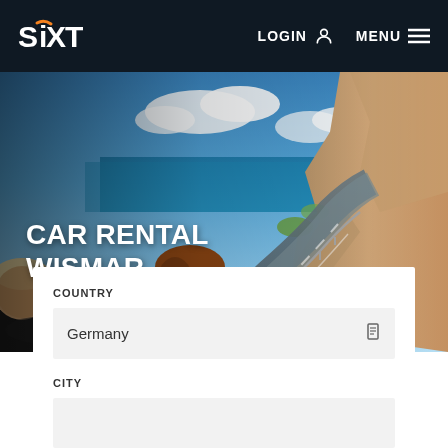[Figure (logo): Sixt car rental company logo — white bold text 'SiXT' with an orange swoosh accent over the letter 'i', on dark navy background]
LOGIN
MENU
[Figure (photo): Wide hero photo of a convertible car on a coastal mountain road. Two people (adult and child) are visible from behind. Blue sky with clouds, rocky cliff on the right, winding road ahead with sea visible in the background.]
CAR RENTAL
WISMAR
COUNTRY
Germany
CITY